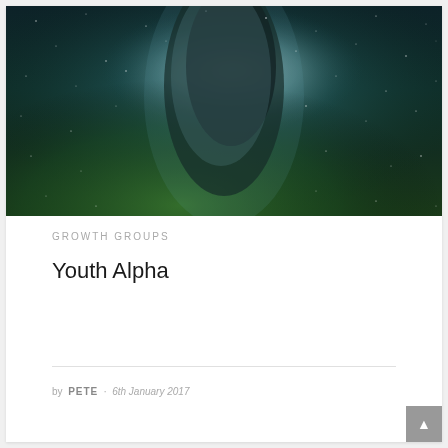[Figure (photo): Night sky / Milky Way photo showing stars and galaxy with dark teal and green tones]
GROWTH GROUPS
Youth Alpha
by PETE · 6th January 2017